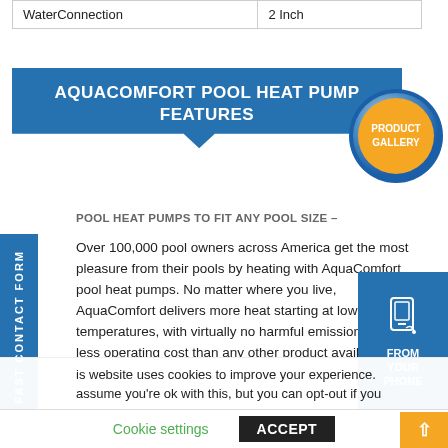| WaterConnection | 2 Inch |
AQUACOMFORT POOL HEAT PUMP FEATURES
[Figure (other): Product Gallery circular badge with gold/orange circle and blue ring]
POOL HEAT PUMPS TO FIT ANY POOL SIZE –
Over 100,000 pool owners across America get the most pleasure from their pools by heating with AquaComfort pool heat pumps. No matter where you live, AquaComfort delivers more heat starting at lower temperatures, with virtually no harmful emissions and less operating cost than any other product available to
is website uses cookies to improve your experience. assume you're ok with this, but you can opt-out if you
Cookie settings   ACCEPT